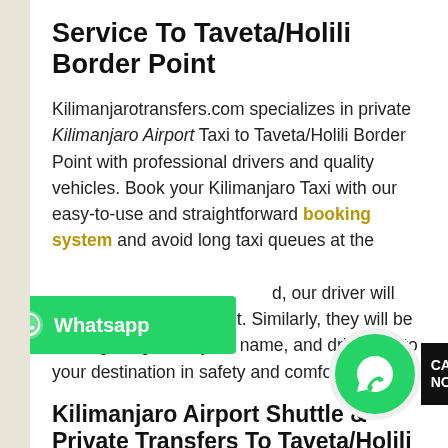Service To Taveta/Holili Border Point
Kilimanjarotransfers.com specializes in private Kilimanjaro Airport Taxi to Taveta/Holili Border Point with professional drivers and quality vehicles. Book your Kilimanjaro Taxi with our easy-to-use and straightforward booking system and avoid long taxi queues at the airport, our driver will wait at the meeting point. Similarly, they will be holding a sign with your name, and drive you to your destination in safety and comfort.
Kilimanjaro Airport Shuttle & Private Transfers To Taveta/Holili Border Point
Consequently, we offer taxi and shuttle services between Kilimanjaro Airport and